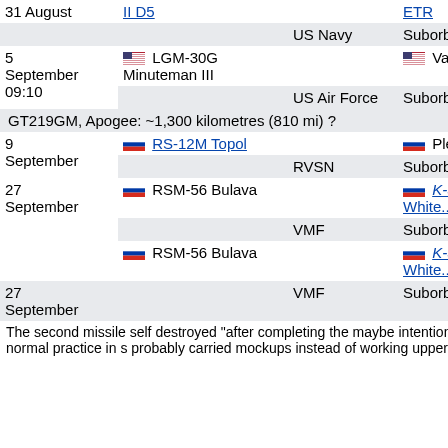| Date | Vehicle | Operator | Location/Result |
| --- | --- | --- | --- |
| 31 August | II D5 | US Navy | ETR / Suborbital Missile |
|  |  | US Navy | Suborbital Missile |
| 5 September 09:10 | LGM-30G Minuteman III | US Air Force | Vandenberg LL / Suborbital Test flight |
|  | GT219GM, Apogee: ~1,300 kilometres (810 mi) ? |  |  |
| 9 September | RS-12M Topol |  | Plesetsk |
|  |  | RVSN | Suborbital Missile |
| 27 September | RSM-56 Bulava |  | K-535 Yury Dolgorukiy, White Sea |
|  |  | VMF | Suborbital Missile |
|  | RSM-56 Bulava |  | K-535 Yury Dolgorukiy, White Sea |
| 27 September |  | VMF | Suborbital Missile |
|  | The second missile self destroyed "after completing the ... maybe intentional. It appears to be a normal practice in s... probably carried mockups instead of working upper stag... money. |  |  |